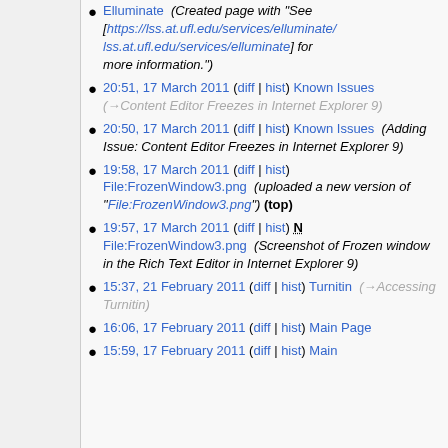Elluminate (Created page with "See [https://lss.at.ufl.edu/services/elluminate/ lss.at.ufl.edu/services/elluminate] for more information.")
20:51, 17 March 2011 (diff | hist) Known Issues (→Content Editor Freezes in Internet Explorer 9)
20:50, 17 March 2011 (diff | hist) Known Issues (Adding Issue: Content Editor Freezes in Internet Explorer 9)
19:58, 17 March 2011 (diff | hist) File:FrozenWindow3.png (uploaded a new version of "File:FrozenWindow3.png") (top)
19:57, 17 March 2011 (diff | hist) N File:FrozenWindow3.png (Screenshot of Frozen window in the Rich Text Editor in Internet Explorer 9)
15:37, 21 February 2011 (diff | hist) Turnitin (→Accessing Turnitin)
16:06, 17 February 2011 (diff | hist) Main Page
15:59, 17 February 2011 (diff | hist) Main